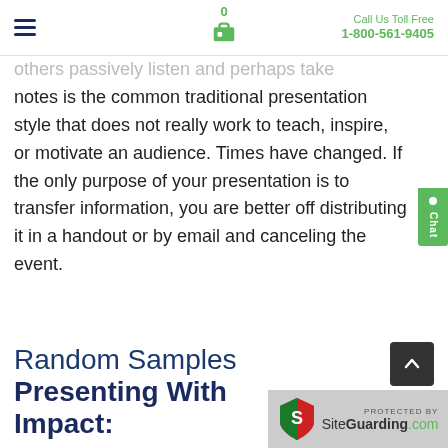0  Call Us Toll Free 1-800-561-9405
others passively listen and perhaps take notes is the common traditional presentation style that does not really work to teach, inspire, or motivate an audience. Times have changed. If the only purpose of your presentation is to transfer information, you are better off distributing it in a handout or by email and canceling the event.
Random Samples Presenting With Impact: